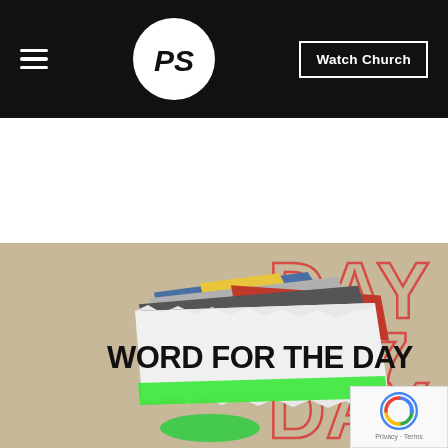PS | Watch Church
[Figure (illustration): Word for the Day promotional image showing a torn newspaper/paper collage with colorful layered paper scraps (blue, red, yellow, green) on a tan/beige background. Bold text reads WORD FOR THE DAY on the central torn paper piece. Red outline text DAY 17 repeats in the background. A green highlighter stripe runs along the bottom of the paper scrap.]